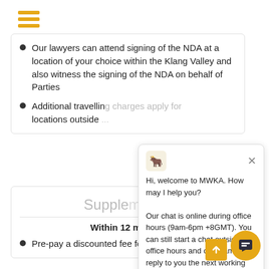[Figure (logo): Hamburger/menu icon with three horizontal orange bars]
Our lawyers can attend signing of the NDA at a location of your choice within the Klang Valley and also witness the signing of the NDA on behalf of Parties
Additional travelling charges apply for locations outside...
Supple...
Within 12 months
Pre-pay a discounted fee for amendments to
[Figure (screenshot): Chat popup widget from MWKA with goat logo. Text: Hi, welcome to MWKA. How may I help you? Our chat is online during office hours (9am-6pm +8GMT). You can still start a chat outside office hours and our team will reply to you the next working day.]